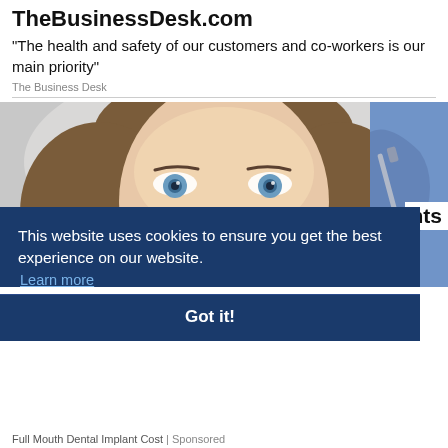TheBusinessDesk.com
"The health and safety of our customers and co-workers is our main priority"
The Business Desk
[Figure (photo): Smiling young woman with blue eyes at a dental appointment, with a dental professional's gloved hand holding an instrument visible on the right side.]
This website uses cookies to ensure you get the best experience on our website. Learn more
Got it!
Full Mouth Dental Implant Cost | Sponsored